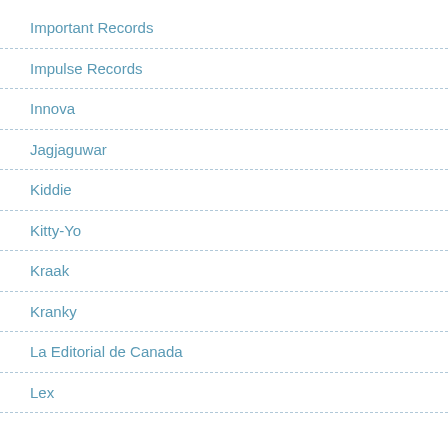Important Records
Impulse Records
Innova
Jagjaguwar
Kiddie
Kitty-Yo
Kraak
Kranky
La Editorial de Canada
Lex